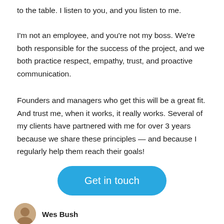to the table. I listen to you, and you listen to me.
I'm not an employee, and you're not my boss. We're both responsible for the success of the project, and we both practice respect, empathy, trust, and proactive communication.
Founders and managers who get this will be a great fit. And trust me, when it works, it really works. Several of my clients have partnered with me for over 3 years because we share these principles — and because I regularly help them reach their goals!
Get in touch
Wes Bush